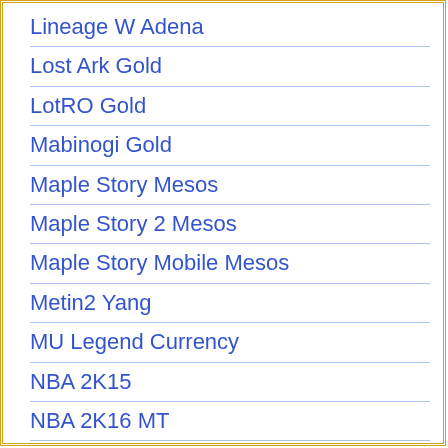Lineage W Adena
Lost Ark Gold
LotRO Gold
Mabinogi Gold
Maple Story Mesos
Maple Story 2 Mesos
Maple Story Mobile Mesos
Metin2 Yang
MU Legend Currency
NBA 2K15
NBA 2K16 MT
NBA 2K17 MT
NBA 2K18 MT
NBA Live
NBA Live 18